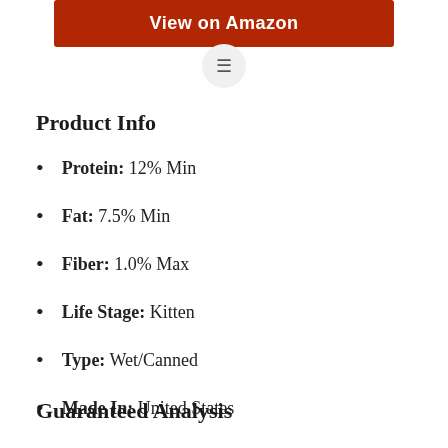[Figure (other): Red 'View on Amazon' button at top center]
[Figure (other): Hamburger menu icon in circular button]
Product Info
Protein: 12% Min
Fat: 7.5% Min
Fiber: 1.0% Max
Life Stage: Kitten
Type: Wet/Canned
Made In: United States
Guaranteed Analysis